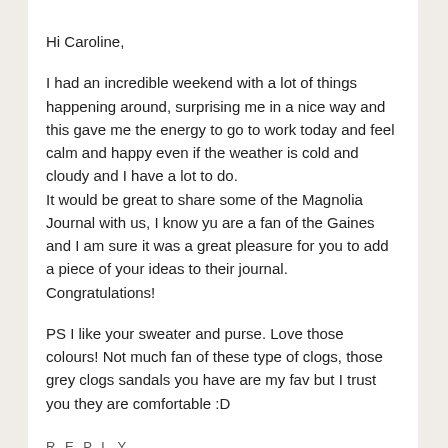Hi Caroline,
I had an incredible weekend with a lot of things happening around, surprising me in a nice way and this gave me the energy to go to work today and feel calm and happy even if the weather is cold and cloudy and I have a lot to do. It would be great to share some of the Magnolia Journal with us, I know yu are a fan of the Gaines and I am sure it was a great pleasure for you to add a piece of your ideas to their journal. Congratulations!
PS I like your sweater and purse. Love those colours! Not much fan of these type of clogs, those grey clogs sandals you have are my fav but I trust you they are comfortable :D
R E P L Y